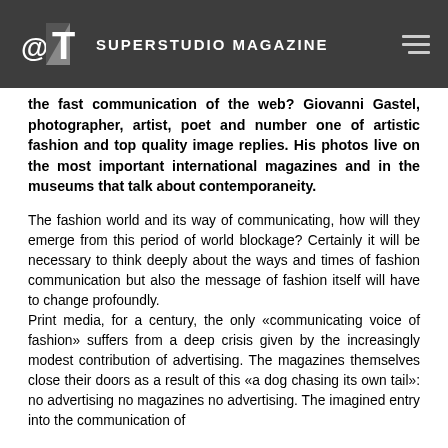@AT SUPERSTUDIO MAGAZINE
the fast communication of the web? Giovanni Gastel, photographer, artist, poet and number one of artistic fashion and top quality image replies. His photos live on the most important international magazines and in the museums that talk about contemporaneity.
The fashion world and its way of communicating, how will they emerge from this period of world blockage? Certainly it will be necessary to think deeply about the ways and times of fashion communication but also the message of fashion itself will have to change profoundly.
Print media, for a century, the only «communicating voice of fashion» suffers from a deep crisis given by the increasingly modest contribution of advertising. The magazines themselves close their doors as a result of this «a dog chasing its own tail»: no advertising no magazines no advertising. The imagined entry into the communication of